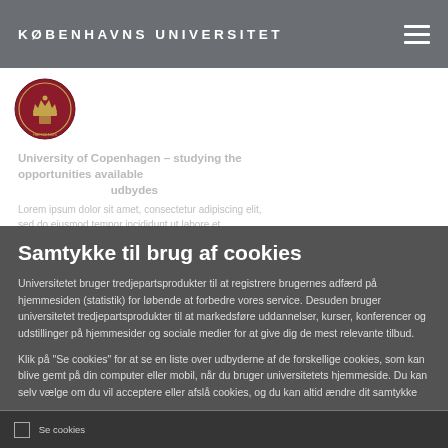KØBENHAVNS UNIVERSITET
[Figure (logo): University of Copenhagen circular red seal/crest logo]
Samtykke til brug af cookies
Universitetet bruger tredjepartsprodukter til at registrere brugernes adfærd på hjemmesiden (statistik) for løbende at forbedre vores service. Desuden bruger universitetet tredjepartsprodukter til at markedsføre uddannelser, kurser, konferencer og udstillinger på hjemmesider og sociale medier for at give dig de mest relevante tilbud.
Klik på "Se cookies" for at se en liste over udbyderne af de forskellige cookies, som kan blive gemt på din computer eller mobil, når du bruger universitetets hjemmeside. Du kan selv vælge om du vil acceptere eller afslå cookies, og du kan altid ændre dit samtykke